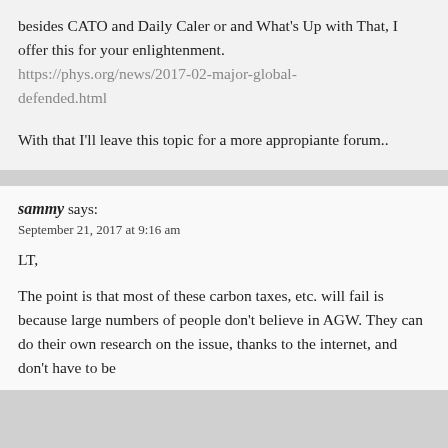besides CATO and Daily Caler or and What's Up with That, I offer this for your enlightenment. https://phys.org/news/2017-02-major-global-defended.html

With that I'll leave this topic for a more appropiante forum..
sammy says:
September 21, 2017 at 9:16 am

LT,

The point is that most of these carbon taxes, etc. will fail is because large numbers of people don't believe in AGW. They can do their own research on the issue, thanks to the internet, and don't have to be